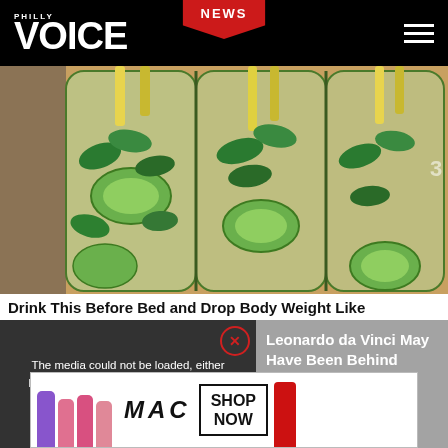PHILLY VOICE | NEWS
[Figure (photo): Three large glass bottles filled with cucumber slices, mint leaves, and lemon slices infused in water, sitting on a kitchen counter.]
Drink This Before Bed and Drop Body Weight Like
[Figure (screenshot): Video player overlay with error message: 'The media could not be loaded, either because the server or network failed or because the format is not supported.' with an X close button.]
Leonardo da Vinci May Have Been Behind Nude Mona Lisa
[Figure (photo): MAC cosmetics advertisement showing lipsticks and a SHOP NOW button.]